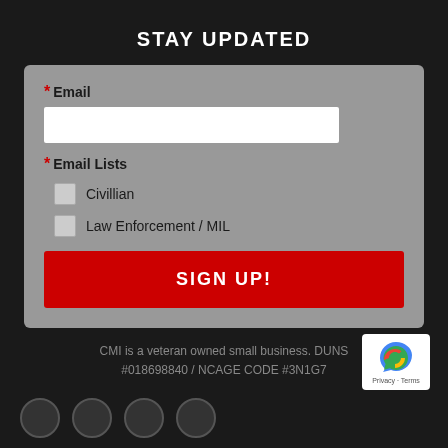STAY UPDATED
* Email
* Email Lists
Civillian
Law Enforcement / MIL
SIGN UP!
CMI is a veteran owned small business. DUNS #018698840 / NCAGE CODE #3N1G7
[Figure (logo): reCAPTCHA badge with Privacy - Terms text]
[Figure (illustration): Social media icon circles at bottom left]